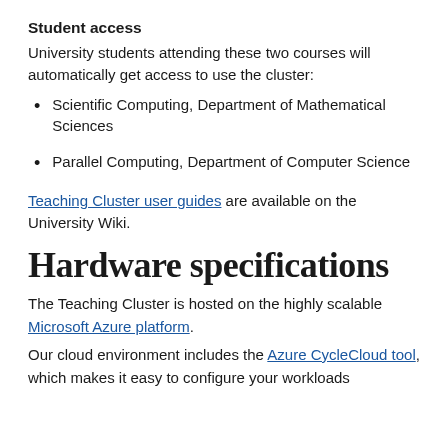Student access
University students attending these two courses will automatically get access to use the cluster:
Scientific Computing, Department of Mathematical Sciences
Parallel Computing, Department of Computer Science
Teaching Cluster user guides are available on the University Wiki.
Hardware specifications
The Teaching Cluster is hosted on the highly scalable Microsoft Azure platform.
Our cloud environment includes the Azure CycleCloud tool, which makes it easy to configure your workloads